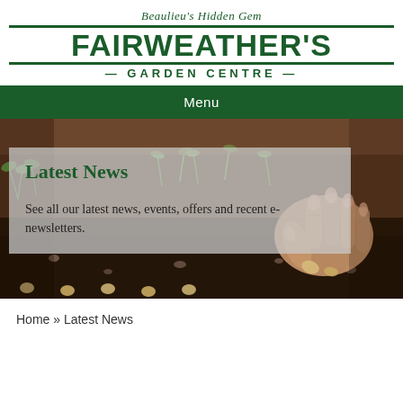Beaulieu's Hidden Gem FAIRWEATHER'S GARDEN CENTRE
Menu
[Figure (photo): Background photo of hands planting seeds in dark soil with green seedlings sprouting]
Latest News
See all our latest news, events, offers and recent e-newsletters.
Home » Latest News